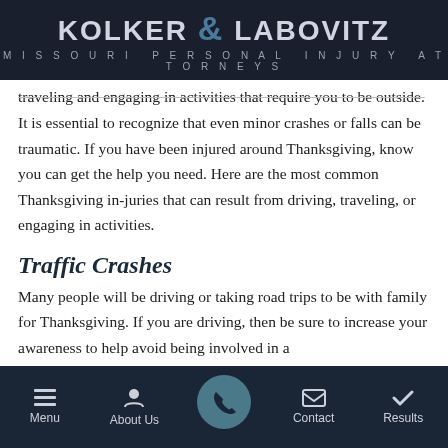KOLKER & LABOVITZ — MISSOURI PERSONAL INJURY ATTORNEYS
traveling and engaging in activities that require you to be outside. It is essential to recognize that even minor crashes or falls can be traumatic. If you have been injured around Thanksgiving, know you can get the help you need. Here are the most common Thanksgiving in-juries that can result from driving, traveling, or engaging in activities.
Traffic Crashes
Many people will be driving or taking road trips to be with family for Thanksgiving. If you are driving, then be sure to increase your awareness to help avoid being involved in a
Menu | About Us | [Call] | Contact | Results